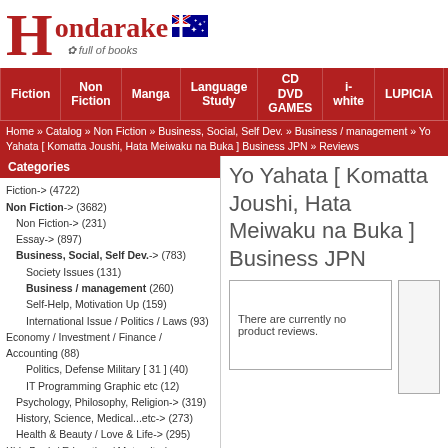[Figure (logo): Hondarake bookstore logo with Australian flag, large red H, text 'Hondarake', tagline 'full of books']
Fiction | Non Fiction | Manga | Language Study | CD DVD GAMES | i-white | LUPICIA
Home » Catalog » Non Fiction » Business, Social, Self Dev. » Business / management » Yo Yahata [ Komatta Joushi, Hata Meiwaku na Buka ] Business JPN » Reviews
Categories
Fiction-> (4722)
Non Fiction-> (3682)
Non Fiction-> (231)
Essay-> (897)
Business, Social, Self Dev.-> (783)
Society Issues (131)
Business / management (260)
Self-Help, Motivation Up (159)
International Issue / Politics / Laws (93)
Economy / Investment / Finance / Accounting (88)
Politics, Defense Military [ 31 ] (40)
IT Programming Graphic etc (12)
Psychology, Philosophy, Religion-> (319)
History, Science, Medical...etc-> (273)
Health & Beauty / Love & Life-> (295)
Kids Book / Education / Maternity / Parenting-> (297)
Home / Cookery-> (152)
Magazines-> (84)
Art Travel Hobby Entertainment-> (351)
Manga-> (716)
Language Study-> (221)
CD DVD GAMES-> (897)
i-white (11)
Yo Yahata [ Komatta Joushi, Hata Meiwaku na Buka ] Business JPN
There are currently no product reviews.